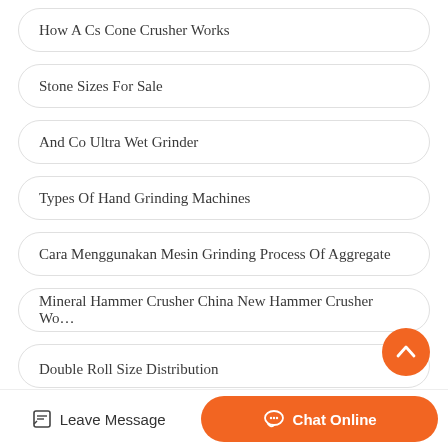How A Cs Cone Crusher Works
Stone Sizes For Sale
And Co Ultra Wet Grinder
Types Of Hand Grinding Machines
Cara Menggunakan Mesin Grinding Process Of Aggregate
Mineral Hammer Crusher China New Hammer Crusher Wo…
Double Roll Size Distribution
Leave Message   Chat Online